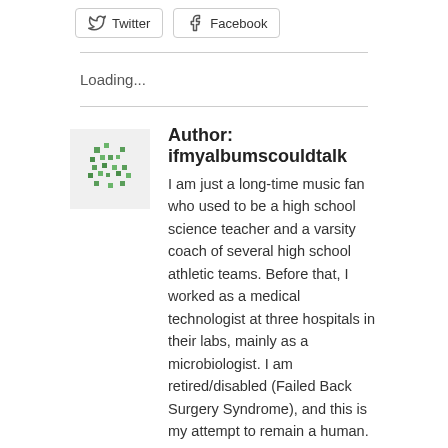[Figure (infographic): Twitter and Facebook share buttons]
Loading...
[Figure (illustration): Author avatar icon with green pixel/dot pattern]
Author: ifmyalbumscouldtalk
I am just a long-time music fan who used to be a high school science teacher and a varsity coach of several high school athletic teams. Before that, I worked as a medical technologist at three hospitals in their labs, mainly as a microbiologist. I am retired/disabled (Failed Back Surgery Syndrome), and this is my attempt to remain a human. Additionally, I am a serious vinyl aficionado, with a CD addiction and a love of reading about rock history. Finally, I am a fan of Prince, Cheap Trick, Tom Petty, R.E.M., Hall &